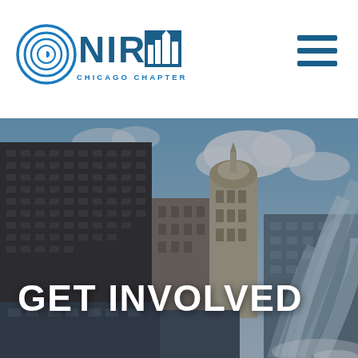[Figure (logo): NIRI Chicago Chapter logo with circular wave graphic and city skyline icon]
[Figure (photo): Chicago skyline photograph featuring a fountain spraying water in the foreground, city buildings including a distinctive domed tower in the background, partly cloudy sky]
GET INVOLVED